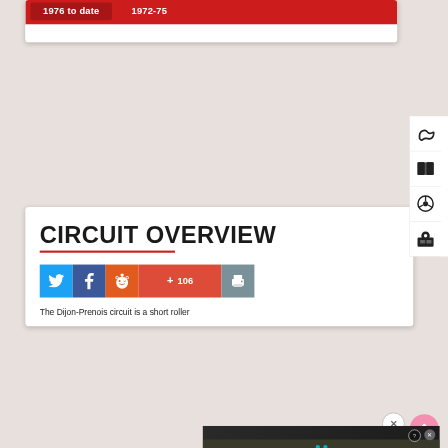[Figure (screenshot): Website navigation UI showing two red tabs labeled '1976 to date' and '1972-75' on a dark red background, with a white card body below.]
[Figure (screenshot): Right sidebar with four icon buttons: a racing circuit icon, an open book icon, a steering wheel icon, and a map/location icon.]
CIRCUIT OVERVIEW
[Figure (screenshot): Social sharing buttons row: Twitter (blue bird), Facebook (blue f), Reddit (orange alien), Google+ with count 106 (red), and Print (grey printer icon).]
The Dijon-Prenois circuit is a short roller
[Figure (photo): Advertisement banner showing a road scene with text 'Hold and Move' and two pedestrian figures, with a help (?) and close (X) button.]